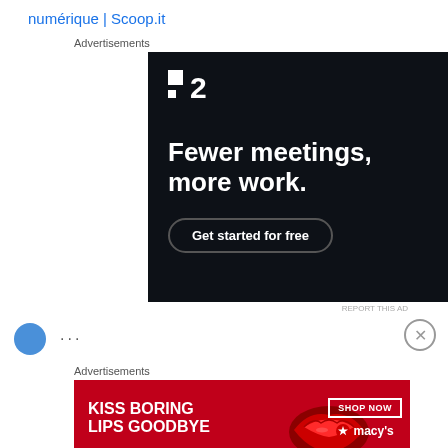numérique | Scoop.it
Advertisements
[Figure (screenshot): Advertisement for P2 productivity software with dark background. Logo showing a square icon and '2'. Headline: 'Fewer meetings, more work.' Button: 'Get started for free']
REPORT THIS AD
[Figure (screenshot): Advertisement banner for Macy's showing 'KISS BORING LIPS GOODBYE' with a woman's lips and 'SHOP NOW' button with macy's star logo]
Advertisements